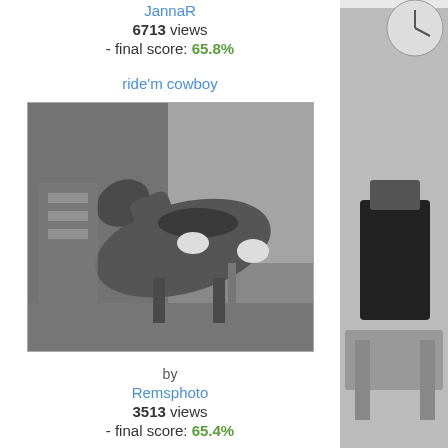JannaR
6713 views
- final score: 65.8%
ride'm cowboy
[Figure (photo): Black and white photograph of a carousel horse with saddle, positioned in front of a store window]
by
Remsphoto
3513 views
- final score: 65.4%
[Figure (photo): Partial view of a black and white photo on the right side, showing part of a clock and a person]